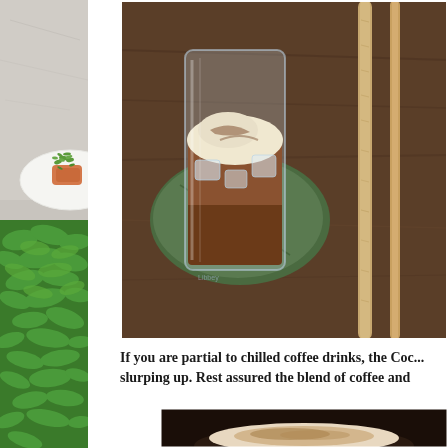[Figure (photo): Left strip: partial view of a plate with food garnished with green herbs/microgreens, on a light surface]
[Figure (photo): Top right: iced coffee drink in a clear glass on a green cloth napkin on a wooden table, with a wooden stir stick or cinnamon stick beside it]
If you are partial to chilled coffee drinks, the Coc... slurping up. Rest assured the blend of coffee and ...
[Figure (photo): Bottom right: dark background with what appears to be a coffee drink with foam/cream on top]